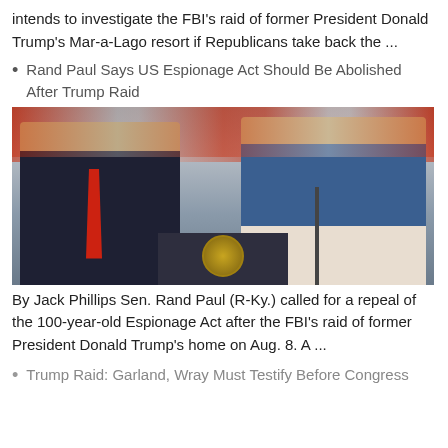intends to investigate the FBI's raid of former President Donald Trump's Mar-a-Lago resort if Republicans take back the ...
Rand Paul Says US Espionage Act Should Be Abolished After Trump Raid
[Figure (photo): Photo of Donald Trump in a dark suit with red tie standing next to Sen. Rand Paul who is speaking at a podium with the presidential seal, at a political rally.]
By Jack Phillips Sen. Rand Paul (R-Ky.) called for a repeal of the 100-year-old Espionage Act after the FBI's raid of former President Donald Trump's home on Aug. 8. A ...
Trump Raid: Garland, Wray Must Testify Before Congress